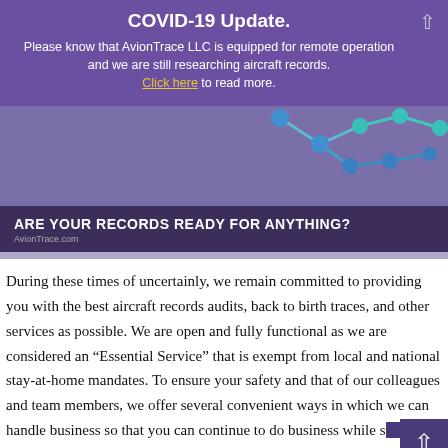COVID-19 Update.
Please know that AvionTrace LLC is equipped for remote operation and we are still researching aircraft records. Click here to read more.
[Figure (illustration): Decorative network/nodes graphic with blue and teal dots connected by lines on a purple background]
ARE YOUR RECORDS READY FOR ANYTHING?
AvionTrace.com
During these times of uncertainly, we remain committed to providing you with the best aircraft records audits, back to birth traces, and other services as possible. We are open and fully functional as we are considered an “Essential Service” that is exempt from local and national stay-at-home mandates. To ensure your safety and that of our colleagues and team members, we offer several convenient ways in which we can handle business so that you can continue to do business while staying as safe as possible.